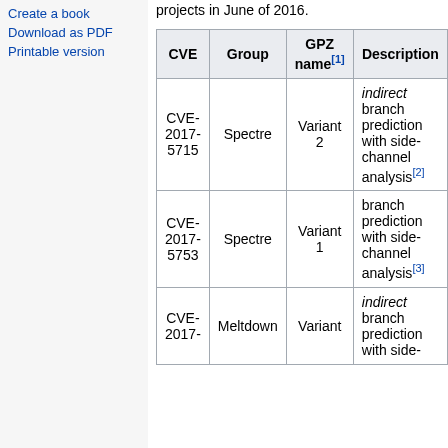Create a book
Download as PDF
Printable version
projects in June of 2016.
| CVE | Group | GPZ name[1] | Description |
| --- | --- | --- | --- |
| CVE-2017-5715 | Spectre | Variant 2 | indirect branch prediction with side-channel analysis[2] |
| CVE-2017-5753 | Spectre | Variant 1 | branch prediction with side-channel analysis[3] |
| CVE-2017- | Meltdown | Variant | indirect branch prediction with side- |